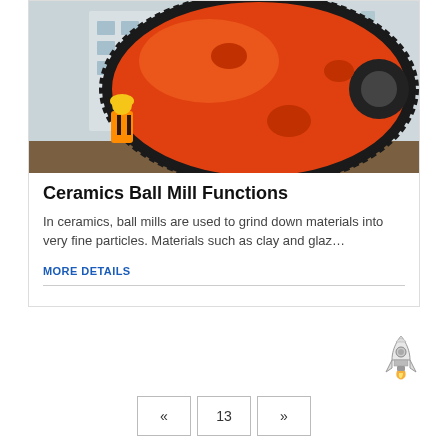[Figure (photo): Large orange industrial ball mill with gear ring, worker in yellow hard hat visible at lower left, photographed outdoors in an industrial yard]
Ceramics Ball Mill Functions
In ceramics, ball mills are used to grind down materials into very fine particles. Materials such as clay and glaz…
MORE DETAILS
[Figure (illustration): Small rocket mascot icon in black and white/grey tones]
« 13 »